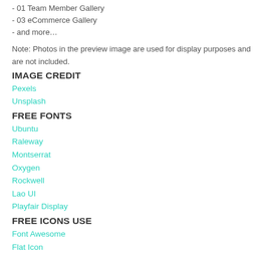- 01 Team Member Gallery
- 03 eCommerce Gallery
- and more…
Note: Photos in the preview image are used for display purposes and are not included.
IMAGE CREDIT
Pexels
Unsplash
FREE FONTS
Ubuntu
Raleway
Montserrat
Oxygen
Rockwell
Lao UI
Playfair Display
FREE ICONS USE
Font Awesome
Flat Icon